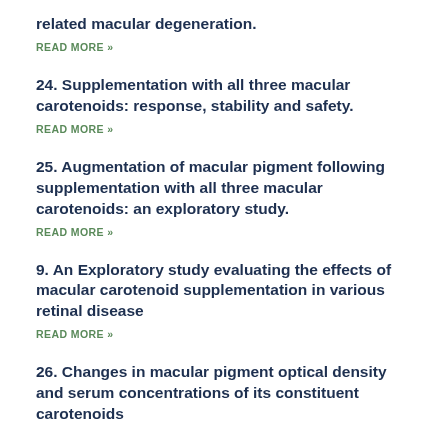related macular degeneration.
READ MORE »
24. Supplementation with all three macular carotenoids: response, stability and safety.
READ MORE »
25. Augmentation of macular pigment following supplementation with all three macular carotenoids: an exploratory study.
READ MORE »
9. An Exploratory study evaluating the effects of macular carotenoid supplementation in various retinal disease
READ MORE »
26. Changes in macular pigment optical density and serum concentrations of its constituent carotenoids